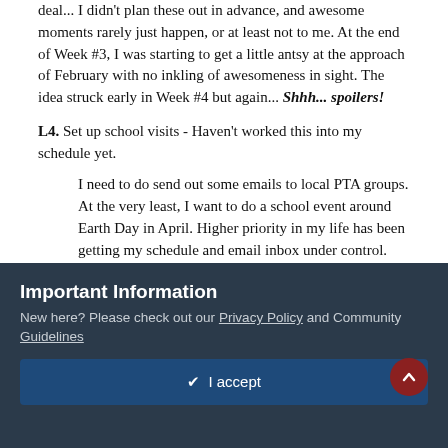deal... I didn't plan these out in advance, and awesome moments rarely just happen, or at least not to me. At the end of Week #3, I was starting to get a little antsy at the approach of February with no inkling of awesomeness in sight. The idea struck early in Week #4 but again... Shhh... spoilers!
L4. Set up school visits - Haven't worked this into my schedule yet.
I need to do send out some emails to local PTA groups. At the very least, I want to do a school event around Earth Day in April. Higher priority in my life has been getting my schedule and email inbox under control. This started as an offshoot of a side task in the Renaissance Rebels group because I had a bunch of tasks that needed to get done ASAP and lacked the organization to do it all. So now I'm building up my organization and getting things
Important Information
New here? Please check out our Privacy Policy and Community Guidelines
✔ I accept